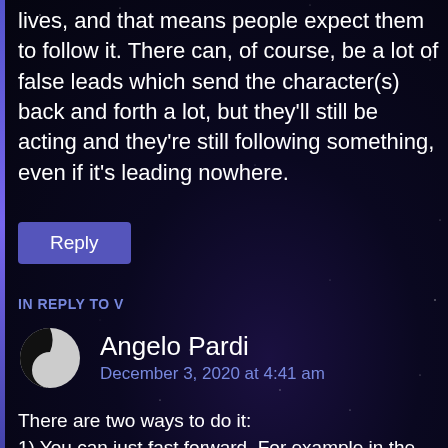lives, and that means people expect them to follow it. There can, of course, be a lot of false leads which send the character(s) back and forth a lot, but they'll still be acting and they're still following something, even if it's leading nowhere.
Reply
IN REPLY TO V
Angelo Pardi
December 3, 2020 at 4:41 am
There are two ways to do it:
1) You can just fast forward. For example in the